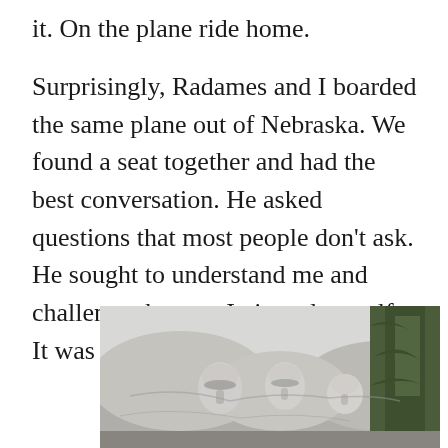it. On the plane ride home.
Surprisingly, Radames and I boarded the same plane out of Nebraska. We found a seat together and had the best conversation. He asked questions that most people don't ask. He sought to understand me and challenge the way I viewed myself. It was a gift.
[Figure (photo): Photograph of Mount Rushmore with trees in the foreground, partially cropped at the bottom of the page.]